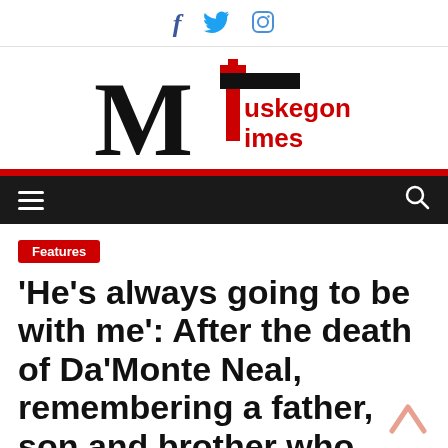f  🐦  ○  (social media icons: Facebook, Twitter, Instagram)
[Figure (logo): Muskegon Times logo with large black serif M, red lighthouse T, and red text 'uskegon Times']
Navigation bar with hamburger menu and search icon
Features
'He's always going to be with me': After the death of Da'Monte Neal, remembering a father, son and brother who